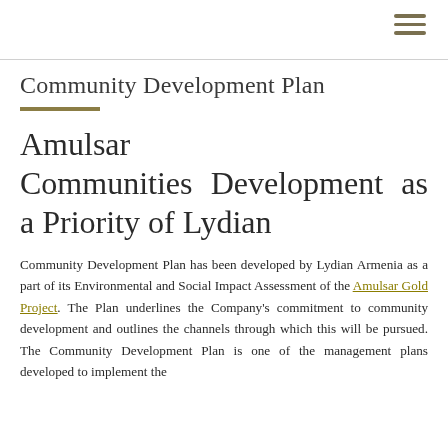Community Development Plan
Amulsar Communities Development as a Priority of Lydian
Community Development Plan has been developed by Lydian Armenia as a part of its Environmental and Social Impact Assessment of the Amulsar Gold Project. The Plan underlines the Company’s commitment to community development and outlines the channels through which this will be pursued. The Community Development Plan is one of the management plans developed to implement the